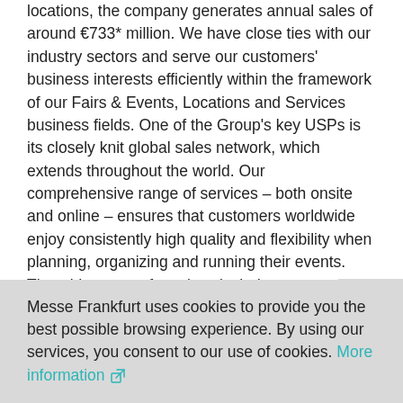locations, the company generates annual sales of around €733* million. We have close ties with our industry sectors and serve our customers' business interests efficiently within the framework of our Fairs & Events, Locations and Services business fields. One of the Group's key USPs is its closely knit global sales network, which extends throughout the world. Our comprehensive range of services – both onsite and online – ensures that customers worldwide enjoy consistently high quality and flexibility when planning, organizing and running their events. The wide range of services includes re… exhibition grounds, trade fair construction and
Messe Frankfurt uses cookies to provide you the best possible browsing experience. By using our services, you consent to our use of cookies. More information [external link icon]